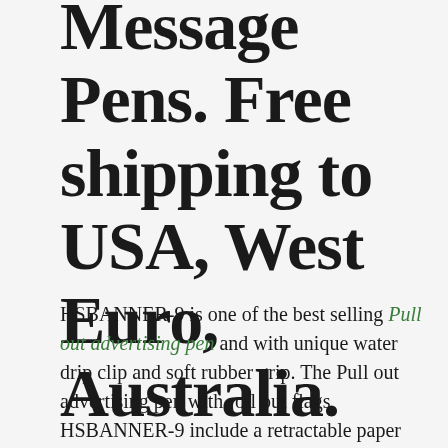Message Pens. Free shipping to USA, West Euro, Australia.
HSBANNER-9 is one of the best selling Pull out advertising pen and with unique water drip clip and soft rubber grip. The Pull out advertising pen with roll out flags HSBANNER-9 include a retractable paper flag with film coated to ensure durability.